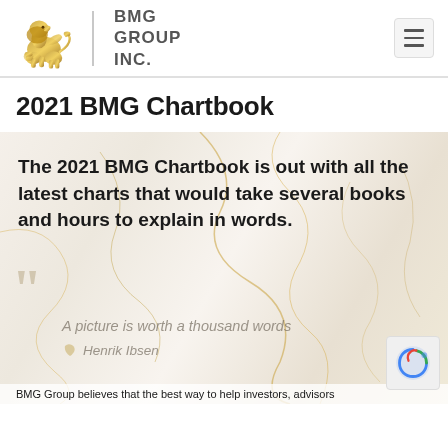BMG GROUP INC.
2021 BMG Chartbook
[Figure (illustration): Decorative marble texture background with gold veins, containing bold text overlay and a quote]
The 2021 BMG Chartbook is out with all the latest charts that would take several books and hours to explain in words.
A picture is worth a thousand words
Henrik Ibsen
BMG Group believes that the best way to help investors, advisors